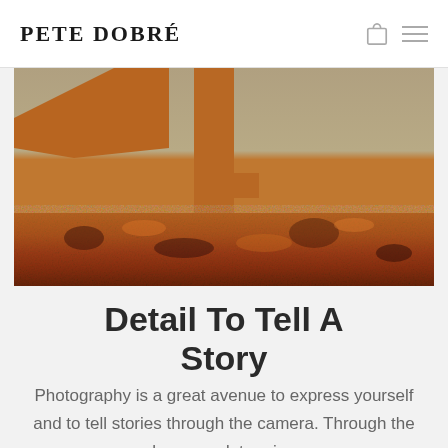Pete Dobré
[Figure (photo): Close-up macro photograph of heavily rusted metal with orange, brown and dark rust textures and corrosion patterns]
Detail To Tell A Story
Photography is a great avenue to express yourself and to tell stories through the camera. Through the lens you determine